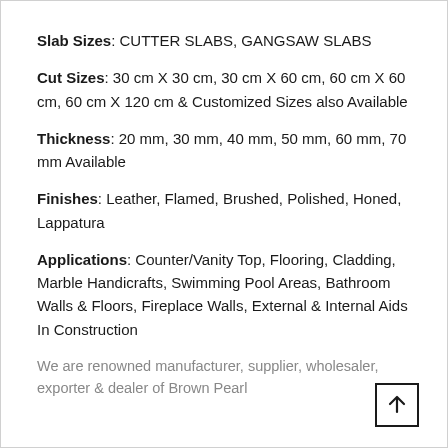Slab Sizes: CUTTER SLABS, GANGSAW SLABS
Cut Sizes: 30 cm X 30 cm, 30 cm X 60 cm, 60 cm X 60 cm, 60 cm X 120 cm & Customized Sizes also Available
Thickness: 20 mm, 30 mm, 40 mm, 50 mm, 60 mm, 70 mm Available
Finishes: Leather, Flamed, Brushed, Polished, Honed, Lappatura
Applications: Counter/Vanity Top, Flooring, Cladding, Marble Handicrafts, Swimming Pool Areas, Bathroom Walls & Floors, Fireplace Walls, External & Internal Aids In Construction
We are renowned manufacturer, supplier, wholesaler, exporter & dealer of Brown Pearl